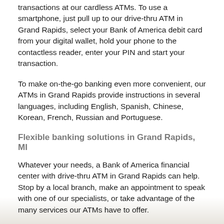transactions at our cardless ATMs. To use a smartphone, just pull up to our drive-thru ATM in Grand Rapids, select your Bank of America debit card from your digital wallet, hold your phone to the contactless reader, enter your PIN and start your transaction.
To make on-the-go banking even more convenient, our ATMs in Grand Rapids provide instructions in several languages, including English, Spanish, Chinese, Korean, French, Russian and Portuguese.
Flexible banking solutions in Grand Rapids, MI
Whatever your needs, a Bank of America financial center with drive-thru ATM in Grand Rapids can help. Stop by a local branch, make an appointment to speak with one of our specialists, or take advantage of the many services our ATMs have to offer.